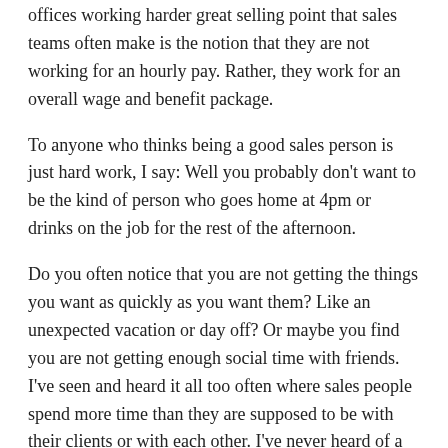offices working harder great selling point that sales teams often make is the notion that they are not working for an hourly pay. Rather, they work for an overall wage and benefit package.
To anyone who thinks being a good sales person is just hard work, I say: Well you probably don't want to be the kind of person who goes home at 4pm or drinks on the job for the rest of the afternoon.
Do you often notice that you are not getting the things you want as quickly as you want them? Like an unexpected vacation or day off? Or maybe you find you are not getting enough social time with friends. I've seen and heard it all too often where sales people spend more time than they are supposed to be with their clients or with each other. I've never heard of a sales professional not taking care of themselves or the community at large like that.